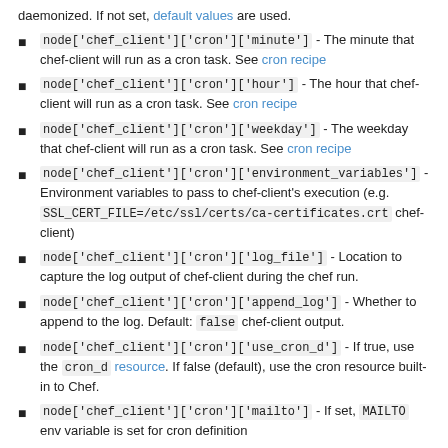daemonized. If not set, default values are used.
node['chef_client']['cron']['minute'] - The minute that chef-client will run as a cron task. See cron recipe
node['chef_client']['cron']['hour'] - The hour that chef-client will run as a cron task. See cron recipe
node['chef_client']['cron']['weekday'] - The weekday that chef-client will run as a cron task. See cron recipe
node['chef_client']['cron']['environment_variables'] - Environment variables to pass to chef-client's execution (e.g. SSL_CERT_FILE=/etc/ssl/certs/ca-certificates.crt chef-client)
node['chef_client']['cron']['log_file'] - Location to capture the log output of chef-client during the chef run.
node['chef_client']['cron']['append_log'] - Whether to append to the log. Default: false chef-client output.
node['chef_client']['cron']['use_cron_d'] - If true, use the cron_d resource. If false (default), use the cron resource built-in to Chef.
node['chef_client']['cron']['mailto'] - If set, MAILTO env variable is set for cron definition
node['chef_client']['cron']['priority'] - If set, defines the scheduling priority for the chef-client process. MUST be a value between -20 and 19. ONLY applies to *nix-style operating systems.